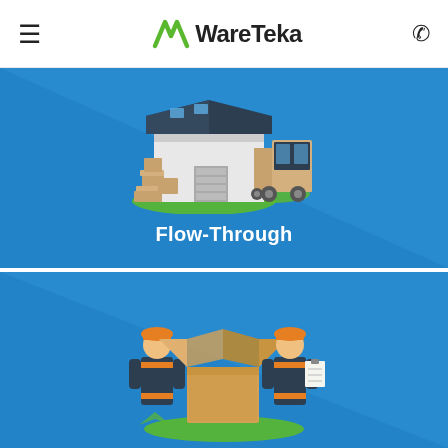WareTeka
[Figure (illustration): Blue card with isometric illustration of a warehouse building with boxes and a delivery truck, labeled Flow-Through]
[Figure (illustration): Blue card with isometric illustration of two workers in orange hard hats inspecting an open cardboard box]